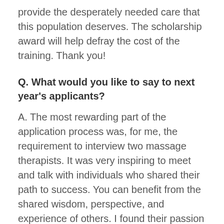provide the desperately needed care that this population deserves. The scholarship award will help defray the cost of the training. Thank you!
Q. What would you like to say to next year's applicants?
A. The most rewarding part of the application process was, for me, the requirement to interview two massage therapists. It was very inspiring to meet and talk with individuals who shared their path to success. You can benefit from the shared wisdom, perspective, and experience of others. I found their passion and love for the profession to be contagious!
Q. Why is it important for you to bet...